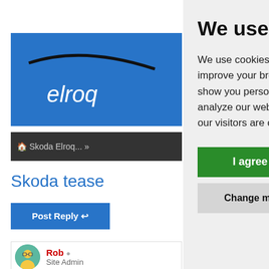[Figure (screenshot): Partially visible website with blue logo area showing 'elroq' text, dark breadcrumb bar showing 'Skoda Elroq...', page title 'Skoda tease' in blue, blue Post Reply button, and a comment section with avatar for user Rob (Site Admin), date Fri Mar 25, 2022, and text starting 'Skoda has annou']
We use cookies
We use cookies and other tracking technologies to improve your browsing experience on our website, to show you personalized content and targeted ads, to analyze our website traffic, and to understand where our visitors are coming from.
I agree
Change my preferences